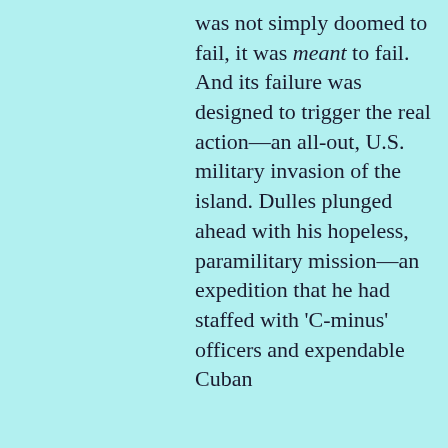was not simply doomed to fail, it was meant to fail. And its failure was designed to trigger the real action—an all-out, U.S. military invasion of the island. Dulles plunged ahead with his hopeless, paramilitary mission—an expedition that he had staffed with 'C-minus' officers and expendable Cuban